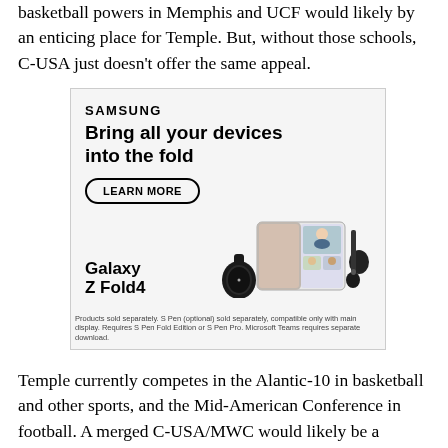basketball powers in Memphis and UCF would likely by an enticing place for Temple. But, without those schools, C-USA just doesn't offer the same appeal.
[Figure (illustration): Samsung advertisement for Galaxy Z Fold4. Text reads: SAMSUNG, Bring all your devices into the fold, LEARN MORE button, Galaxy Z Fold4. Shows images of a smartwatch, foldable phone with video call on screen, and earbuds. Disclaimer: Products sold separately. S Pen (optional) sold separately, compatible only with main display. Requires S Pen Fold Edition or S Pen Pro. Microsoft Teams requires separate download.]
Temple currently competes in the Alantic-10 in basketball and other sports, and the Mid-American Conference in football. A merged C-USA/MWC would likely be a "better' football conference than the MAC